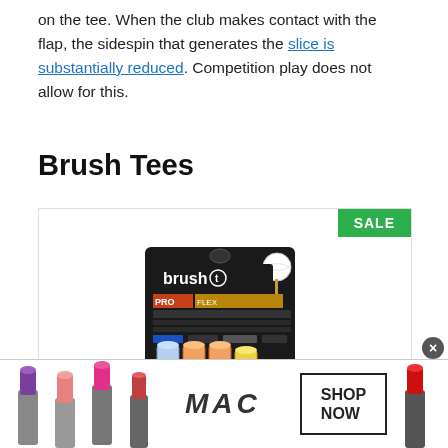on the tee. When the club makes contact with the flap, the sidespin that generates the slice is substantially reduced. Competition play does not allow for this.
Brush Tees
[Figure (photo): Product photo of brush-t golf tees in a black retail package showing colored tees (blue, orange, yellow) with a SALE badge in the top-right corner]
[Figure (photo): MAC cosmetics advertisement banner showing lipsticks in purple, pink and red colors with MAC logo and SHOP NOW button]